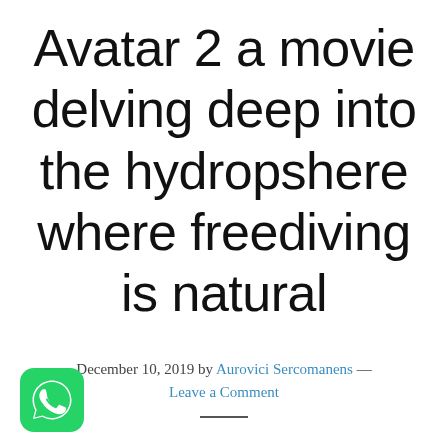Avatar 2 a movie delving deep into the hydropshere where freediving is natural
December 10, 2019 by Aurovici Sercomanens — Leave a Comment
[Figure (logo): WhatsApp logo icon — green rounded square with white phone handset inside speech bubble]